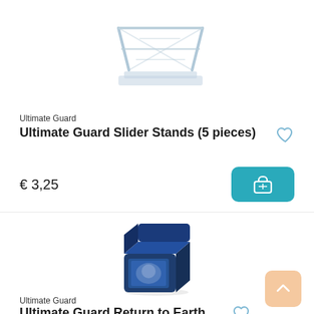[Figure (photo): Clear acrylic/plastic slider stand product image on white background]
Ultimate Guard
Ultimate Guard Slider Stands (5 pieces)
€ 3,25
[Figure (photo): Dark navy blue deck box (Boulder Deck Case 100+) with open lid showing cards inside, on white background]
Ultimate Guard
Ultimate Guard Return to Earth Boulder Deck Case 100+